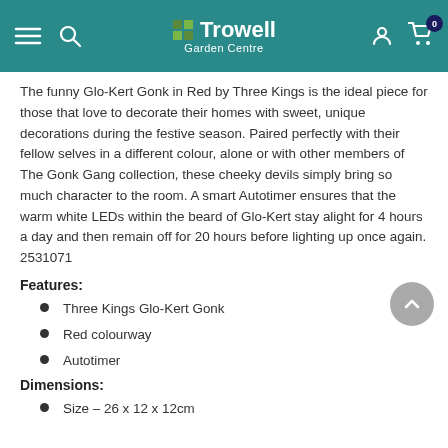Trowell Garden Centre
The funny Glo-Kert Gonk in Red by Three Kings is the ideal piece for those that love to decorate their homes with sweet, unique decorations during the festive season. Paired perfectly with their fellow selves in a different colour, alone or with other members of The Gonk Gang collection, these cheeky devils simply bring so much character to the room. A smart Autotimer ensures that the warm white LEDs within the beard of Glo-Kert stay alight for 4 hours a day and then remain off for 20 hours before lighting up once again. 2531071
Features:
Three Kings Glo-Kert Gonk
Red colourway
Autotimer
Dimensions:
Size – 26 x 12 x 12cm